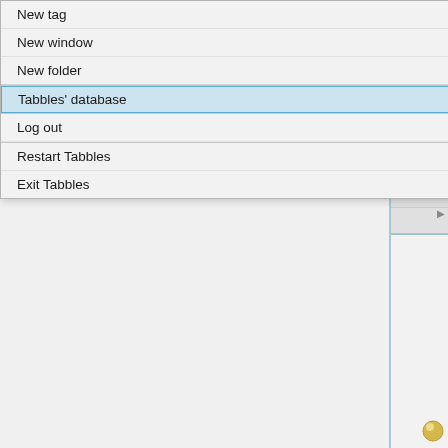[Figure (screenshot): A context menu from the Tabbles application showing options: New tag (ALT+N), New window (CTRL+N), New folder, Tabbles' database (with submenu arrow, highlighted), Log out, Restart Tabbles, Exit Tabbles. To the right is a partial view of another panel showing 'New' and 'Browse' text, a blue highlighted row, and several colored circle icons (yellow, blue, grey, grey, grey, grey, red, brown).]